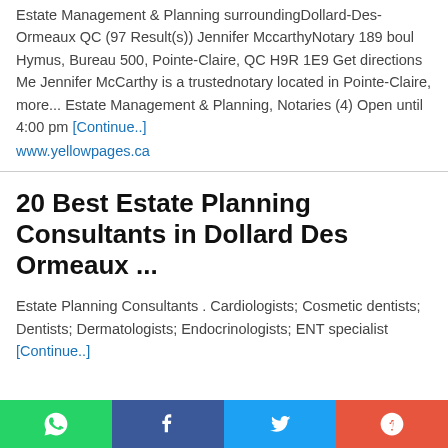Estate Management & Planning surroundingDollard-Des-Ormeaux QC (97 Result(s)) Jennifer MccarthyNotary 189 boul Hymus, Bureau 500, Pointe-Claire, QC H9R 1E9 Get directions Me Jennifer McCarthy is a trustednotary located in Pointe-Claire, more... Estate Management & Planning, Notaries (4) Open until 4:00 pm [Continue..] www.yellowpages.ca
20 Best Estate Planning Consultants in Dollard Des Ormeaux ...
Estate Planning Consultants . Cardiologists; Cosmetic dentists; Dentists; Dermatologists; Endocrinologists; ENT specialist [Continue..]